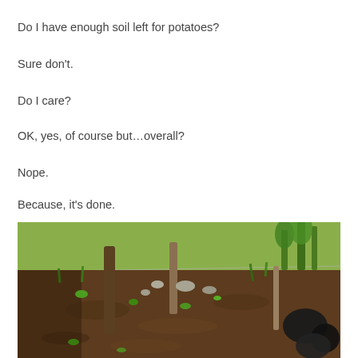Do I have enough soil left for potatoes?
Sure don't.
Do I care?
OK, yes, of course but…overall?
Nope.
Because, it's done.
[Figure (photo): Outdoor garden bed with dark soil, wooden fence posts, green plants, weeds, rocks, and black plastic bags along the right edge. Background shows grass and a wire fence with larger plants beyond.]